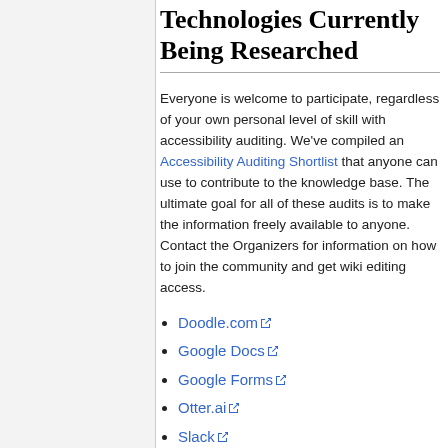Technologies Currently Being Researched
Everyone is welcome to participate, regardless of your own personal level of skill with accessibility auditing. We've compiled an Accessibility Auditing Shortlist that anyone can use to contribute to the knowledge base. The ultimate goal for all of these audits is to make the information freely available to anyone. Contact the Organizers for information on how to join the community and get wiki editing access.
Doodle.com
Google Docs
Google Forms
Otter.ai
Slack
Zotero